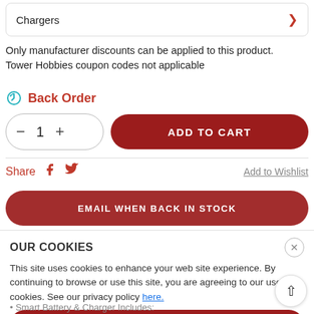Chargers
Only manufacturer discounts can be applied to this product. Tower Hobbies coupon codes not applicable
Back Order
1  ADD TO CART
Share  Add to Wishlist
EMAIL WHEN BACK IN STOCK
OUR COOKIES
This site uses cookies to enhance your web site experience. By continuing to browse or use this site, you are agreeing to our use of cookies. See our privacy policy here.
ACCEPT COOKIES
Smart Battery & Charger Includes: